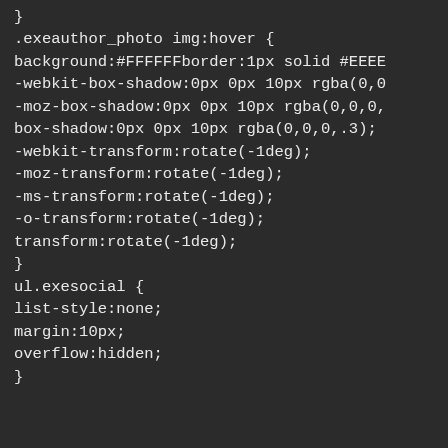}
.exeauthor_photo img:hover {
background:#FFFFFFborder:1px solid #EEEE
-webkit-box-shadow:0px 0px 10px rgba(0,0
-moz-box-shadow:0px 0px 10px rgba(0,0,0,
box-shadow:0px 0px 10px rgba(0,0,0,.3);
-webkit-transform:rotate(-1deg);
-moz-transform:rotate(-1deg);
-ms-transform:rotate(-1deg);
-o-transform:rotate(-1deg);
transform:rotate(-1deg);
}
ul.exesocial {
list-style:none;
margin:10px;
overflow:hidden;
}